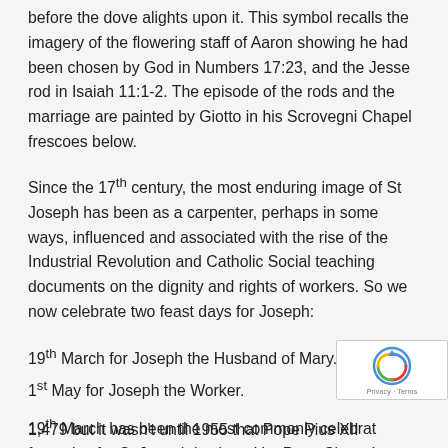before the dove alights upon it. This symbol recalls the imagery of the flowering staff of Aaron showing he had been chosen by God in Numbers 17:23, and the Jesse rod in Isaiah 11:1-2. The episode of the rods and the marriage are painted by Giotto in his Scrovegni Chapel frescoes below.
Since the 17th century, the most enduring image of St Joseph has been as a carpenter, perhaps in some ways, influenced and associated with the rise of the Industrial Revolution and Catholic Social teaching documents on the dignity and rights of workers. So we now celebrate two feast days for Joseph:
19th March for Joseph the Husband of Mary.
1st May for Joseph the Worker.
19th March has been the most commonly celebrated feast day for St Joseph instituted by Pope Sixtus IV in 1479 but it wasn't until 1955 that Pope Pius XII...